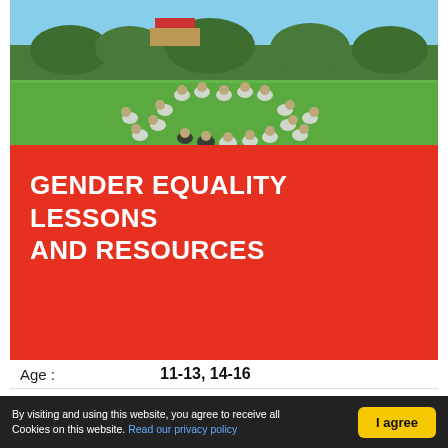[Figure (photo): Students sitting in a large circle on a green sports field outdoors, wearing white uniforms, with trees and a red-roofed building in the background.]
GENDER EQUALITY LESSONS AND RESOURCES
| Age: | 11-13, 14-16 |
| Thematics |  |
| : | Gender inequalities |
| Country |  |
| : | United Kingdom |
By visiting and using this website, you agree to receive all Cookies on this website. Read our privacy policy